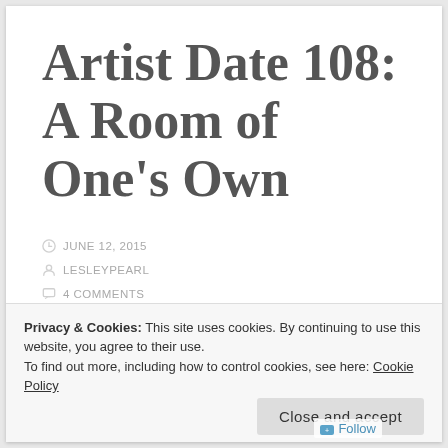Artist Date 108: A Room of One's Own
JUNE 12, 2015
LESLEYPEARL
4 COMMENTS
Privacy & Cookies: This site uses cookies. By continuing to use this website, you agree to their use.
To find out more, including how to control cookies, see here: Cookie Policy
Close and accept